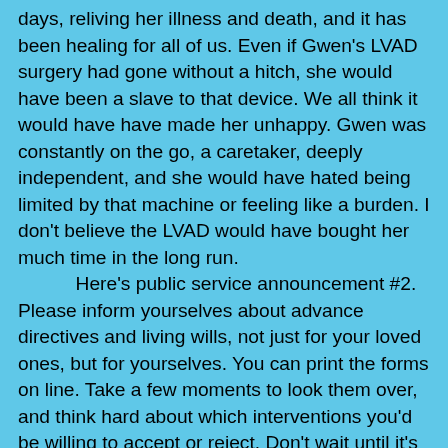days, reliving her illness and death, and it has been healing for all of us. Even if Gwen's LVAD surgery had gone without a hitch, she would have been a slave to that device. We all think it would have have made her unhappy. Gwen was constantly on the go, a caretaker, deeply independent, and she would have hated being limited by that machine or feeling like a burden. I don't believe the LVAD would have bought her much time in the long run.
	Here's public service announcement #2. Please inform yourselves about advance directives and living wills, not just for your loved ones, but for yourselves. You can print the forms on line. Take a few moments to look them over, and think hard about which interventions you'd be willing to accept or reject. Don't wait until it's too late; do it now. Talk with your adult children about this issue, and find out what their preferences are as well. Understand that you have an absolute right to uphold or modify your advance directives/do-not-resuscitate orders, even in the operating room! It's important to know that if you and your family do not discuss this with your surgeon or anesthesiologist beforehand, your end-of-life wishes will probably not be honored. Become your own advocate; don't leave it up to